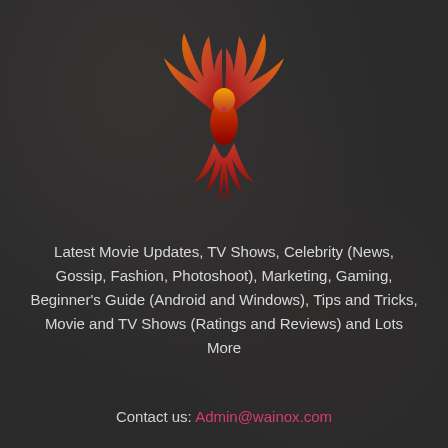[Figure (logo): Phoenix bird logo with orange and red flame wings and tail, facing forward]
Latest Movie Updates, TV Shows, Celebrity (News, Gossip, Fashion, Photoshoot), Marketing, Gaming, Beginner's Guide (Android and Windows), Tips and Tricks, Movie and TV Shows (Ratings and Reviews) and Lots More
Contact us: Admin@wainox.com
[Figure (other): Social media icons: Dailymotion (d) square icon and Facebook (f) icon]